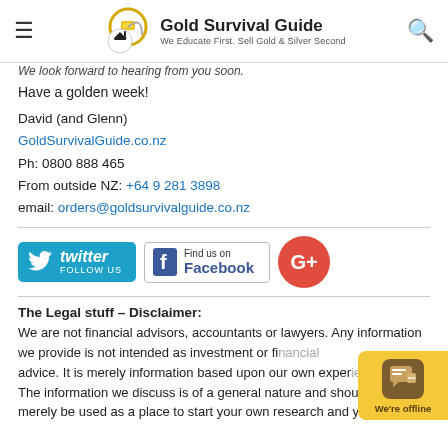Gold Survival Guide — We Educate First. Sell Gold & Silver Second
We look forward to hearing from you soon.
Have a golden week!
David (and Glenn)
GoldSurvivalGuide.co.nz
Ph: 0800 888 465
From outside NZ: +64 9 281 3898
email: orders@goldsurvivalguide.co.nz
[Figure (logo): Twitter Follow Us button]
[Figure (logo): Find us on Facebook button]
[Figure (logo): Google+ button]
The Legal stuff – Disclaimer:
We are not financial advisors, accountants or lawyers. Any information we provide is not intended as investment or financial advice. It is merely information based upon our own experience. The information we discuss is of a general nature and should merely be used as a place to start your own research and you